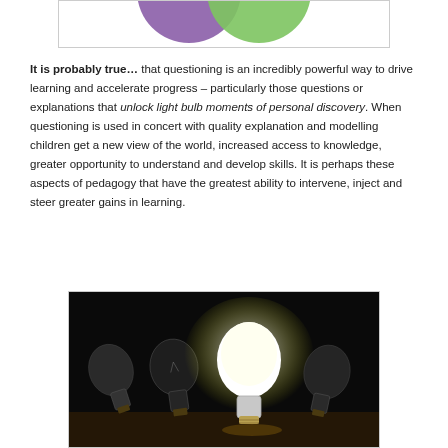[Figure (illustration): Partial view of two overlapping circles (purple and green) from a diagram above, cropped at top of page]
It is probably true… that questioning is an incredibly powerful way to drive learning and accelerate progress – particularly those questions or explanations that unlock light bulb moments of personal discovery. When questioning is used in concert with quality explanation and modelling children get a new view of the world, increased access to knowledge, greater opportunity to understand and develop skills. It is perhaps these aspects of pedagogy that have the greatest ability to intervene, inject and steer greater gains in learning.
[Figure (photo): Photograph of several light bulbs on a dark background, with one bright white glowing bulb in the center surrounded by dim/unlit bulbs]